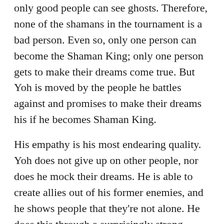only good people can see ghosts. Therefore, none of the shamans in the tournament is a bad person. Even so, only one person can become the Shaman King; only one person gets to make their dreams come true. But Yoh is moved by the people he battles against and promises to make their dreams his if he becomes Shaman King.
His empathy is his most endearing quality. Yoh does not give up on other people, nor does he mock their dreams. He is able to create allies out of his former enemies, and he shows people that they're not alone. He does this through a surprisingly strong emotional maturity, something that is not often the case for anime protagonists. Everybody we encounter in the series, in his mind, deserves a second chance, because they can see ghosts and